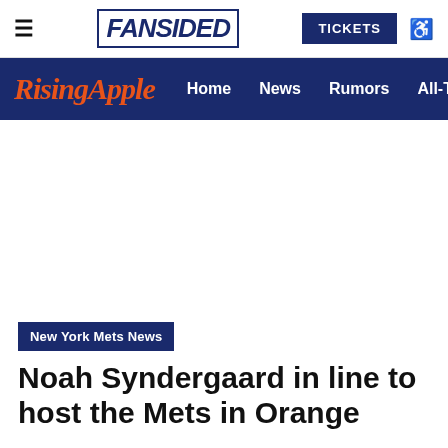FANSIDED | TICKETS
Rising Apple | Home | News | Rumors | All-Time Lists
[Figure (other): White advertisement/blank area]
New York Mets News
Noah Syndergaard in line to host the Mets in Orange